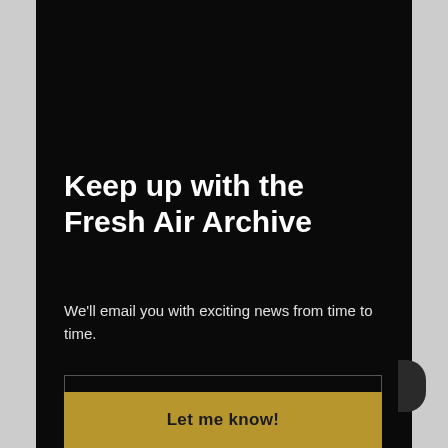Keep up with the Fresh Air Archive
We'll email you with exciting news from time to time.
Enter your email
Let me know!